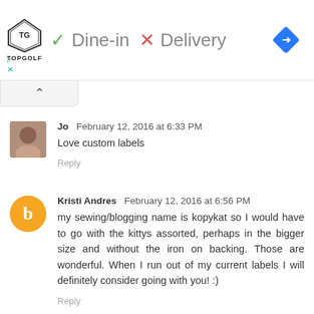[Figure (screenshot): TopGolf advertisement banner showing logo, Dine-in checkmark, Delivery X mark, and navigation diamond icon, with play and close buttons]
[Figure (other): Collapse/accordion tab with upward caret arrow]
Jo  February 12, 2016 at 6:33 PM
Love custom labels
Reply
Kristi Andres  February 12, 2016 at 6:56 PM
my sewing/blogging name is kopykat so I would have to go with the kittys assorted, perhaps in the bigger size and without the iron on backing. Those are wonderful. When I run out of my current labels I will definitely consider going with you! :)
Reply